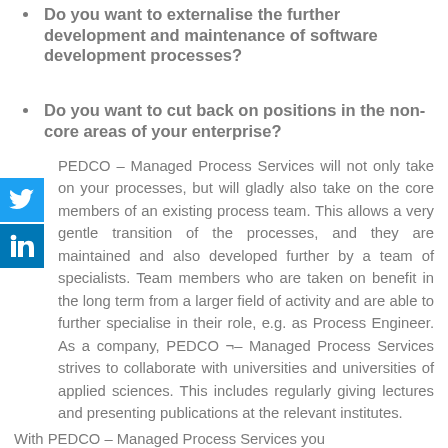Do you want to externalise the further development and maintenance of software development processes?
Do you want to cut back on positions in the non-core areas of your enterprise?
PEDCO – Managed Process Services will not only take on your processes, but will gladly also take on the core members of an existing process team. This allows a very gentle transition of the processes, and they are maintained and also developed further by a team of specialists. Team members who are taken on benefit in the long term from a larger field of activity and are able to further specialise in their role, e.g. as Process Engineer. As a company, PEDCO ¬– Managed Process Services strives to collaborate with universities and universities of applied sciences. This includes regularly giving lectures and presenting publications at the relevant institutes.
With PEDCO – Managed Process Services you